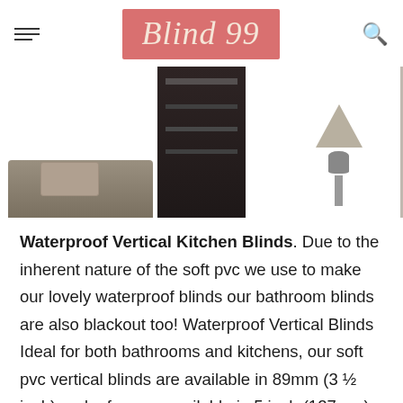Blind 99
[Figure (photo): Interior room photo showing pleated/cellular window blinds in a living room setting with a dark bookcase in the center, sofa with pillows on the left, and a lamp on the right.]
Waterproof Vertical Kitchen Blinds. Due to the inherent nature of the soft pvc we use to make our lovely waterproof blinds our bathroom blinds are also blackout too! Waterproof Vertical Blinds Ideal for both bathrooms and kitchens, our soft pvc vertical blinds are available in 89mm (3 ½ inch) and a few are available in 5 inch (127mm) too. If you're fitting a kitchen blind for the